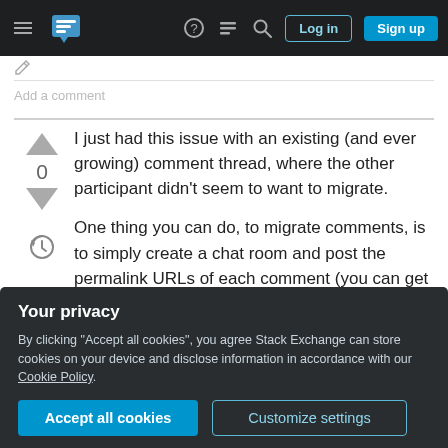Stack Exchange navigation bar with Log in and Sign up buttons
Add a comment
I just had this issue with an existing (and ever growing) comment thread, where the other participant didn't seem to want to migrate.
One thing you can do, to migrate comments, is to simply create a chat room and post the permalink URLs of each comment (you can get the permalink from right clicking the timestamp of a comment).
Nonetheless, I fully support this feature-request.
Your privacy
By clicking "Accept all cookies", you agree Stack Exchange can store cookies on your device and disclose information in accordance with our Cookie Policy.